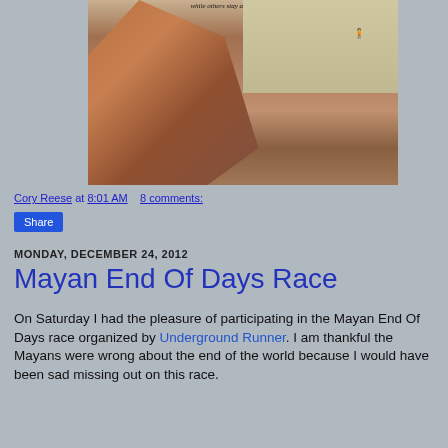[Figure (photo): Outdoor desert/canyon landscape photo with red rock formations and a person standing with arms raised on a rock in the background. Text at top reads 'while others stay awake and do them.']
Cory Reese at 8:01 AM   8 comments:
Share
MONDAY, DECEMBER 24, 2012
Mayan End Of Days Race
On Saturday I had the pleasure of participating in the Mayan End Of Days race organized by Underground Runner. I am thankful the Mayans were wrong about the end of the world because I would have been sad missing out on this race.